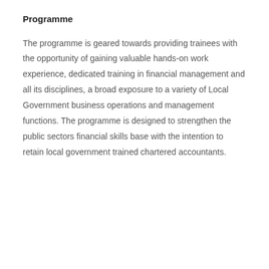Programme
The programme is geared towards providing trainees with the opportunity of gaining valuable hands-on work experience, dedicated training in financial management and all its disciplines, a broad exposure to a variety of Local Government business operations and management functions. The programme is designed to strengthen the public sectors financial skills base with the intention to retain local government trained chartered accountants.